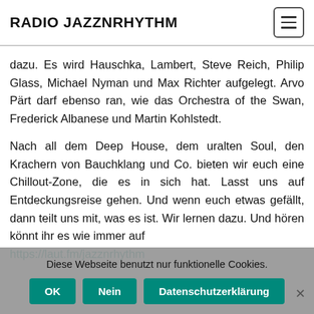RADIO JAZZNRHYTHM
dazu. Es wird Hauschka, Lambert, Steve Reich, Philip Glass, Michael Nyman und Max Richter aufgelegt. Arvo Pärt darf ebenso ran, wie das Orchestra of the Swan, Frederick Albanese und Martin Kohlstedt.
Nach all dem Deep House, dem uralten Soul, den Krachern von Bauchklang und Co. bieten wir euch eine Chillout-Zone, die es in sich hat. Lasst uns auf Entdeckungsreise gehen. Und wenn euch etwas gefällt, dann teilt uns mit, was es ist. Wir lernen dazu. Und hören könnt ihr es wie immer auf https://laut.fm/jazznrhythm
Diese Webseite benutzt nur funktionelle Cookies.